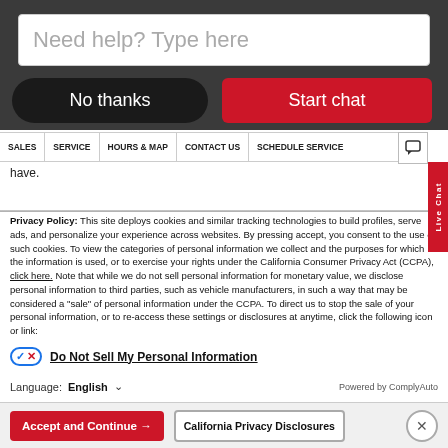[Figure (screenshot): Chat widget input box with placeholder text 'Need help? Type here' on dark background]
No thanks
Start chat
SALES | SERVICE | HOURS & MAP | CONTACT US | SCHEDULE SERVICE
have.
Privacy Policy: This site deploys cookies and similar tracking technologies to build profiles, serve ads, and personalize your experience across websites. By pressing accept, you consent to the use of such cookies. To view the categories of personal information we collect and the purposes for which the information is used, or to exercise your rights under the California Consumer Privacy Act (CCPA), click here. Note that while we do not sell personal information for monetary value, we disclose personal information to third parties, such as vehicle manufacturers, in such a way that may be considered a "sale" of personal information under the CCPA. To direct us to stop the sale of your personal information, or to re-access these settings or disclosures at anytime, click the following icon or link:
Do Not Sell My Personal Information
Language: English
Powered by ComplyAuto
Accept and Continue →
California Privacy Disclosures